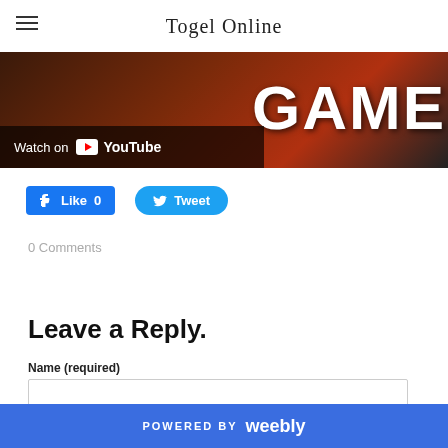Togel Online
[Figure (screenshot): YouTube video thumbnail showing 'GAME' text on dark background with 'Watch on YouTube' overlay bar]
[Figure (other): Facebook Like button (Like 0) and Twitter Tweet button]
0 Comments
Leave a Reply.
Name (required)
POWERED BY weebly